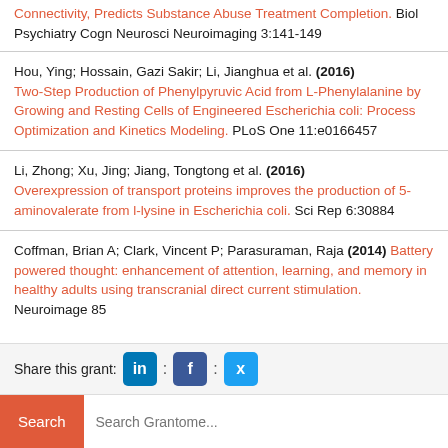Connectivity, Predicts Substance Abuse Treatment Completion. Biol Psychiatry Cogn Neurosci Neuroimaging 3:141-149
Hou, Ying; Hossain, Gazi Sakir; Li, Jianghua et al. (2016) Two-Step Production of Phenylpyruvic Acid from L-Phenylalanine by Growing and Resting Cells of Engineered Escherichia coli: Process Optimization and Kinetics Modeling. PLoS One 11:e0166457
Li, Zhong; Xu, Jing; Jiang, Tongtong et al. (2016) Overexpression of transport proteins improves the production of 5-aminovalerate from l-lysine in Escherichia coli. Sci Rep 6:30884
Coffman, Brian A; Clark, Vincent P; Parasuraman, Raja (2014) Battery powered thought: enhancement of attention, learning, and memory in healthy adults using transcranial direct current stimulation. Neuroimage 85
Share this grant: [LinkedIn] : [Facebook] : [Twitter]